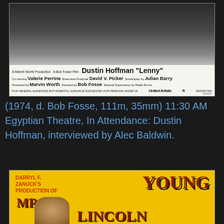[Figure (photo): Movie poster for 'Lenny' (1974) directed by Bob Fosse, starring Dustin Hoffman. Black and white image at the top, with credits below including Valerie Perrine, David V. Picker, Julian Barry, Marvin Worth, Bob Fosse. United Artists release, rated R.]
(1974, d. Bob Fosse, 111m, 35mm) 11:30 AM Egyptian Theatre, In Attendance: Dustin Hoffman, interviewed by Alec Baldwin.
[Figure (photo): Movie poster for 'Young Mr. Lincoln' — Darryl F. Zanuck's Production of Young Mr. Lincoln. Yellow background with bold red and black text, illustration of young Abraham Lincoln.]